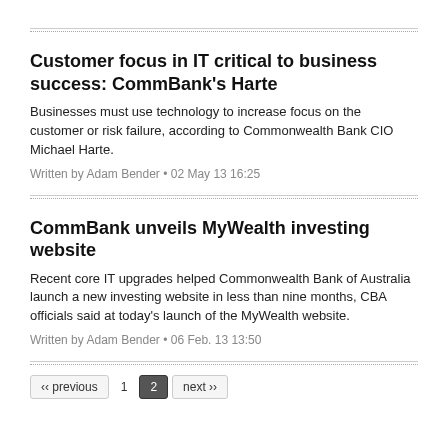Customer focus in IT critical to business success: CommBank's Harte
Businesses must use technology to increase focus on the customer or risk failure, according to Commonwealth Bank CIO Michael Harte.
Written by Adam Bender • 02 May 13 16:25
CommBank unveils MyWealth investing website
Recent core IT upgrades helped Commonwealth Bank of Australia launch a new investing website in less than nine months, CBA officials said at today's launch of the MyWealth website.
Written by Adam Bender • 06 Feb. 13 13:50
‹‹ previous  1  2  next ››